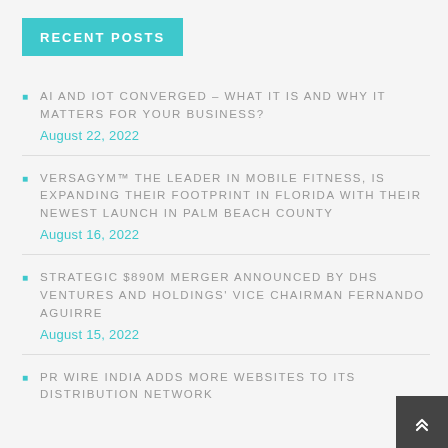RECENT POSTS
AI AND IOT CONVERGED – WHAT IT IS AND WHY IT MATTERS FOR YOUR BUSINESS?
August 22, 2022
VERSAGYM™ THE LEADER IN MOBILE FITNESS, IS EXPANDING THEIR FOOTPRINT IN FLORIDA WITH THEIR NEWEST LAUNCH IN PALM BEACH COUNTY
August 16, 2022
STRATEGIC $890M MERGER ANNOUNCED BY DHS VENTURES AND HOLDINGS' VICE CHAIRMAN FERNANDO AGUIRRE
August 15, 2022
PR WIRE INDIA ADDS MORE WEBSITES TO ITS DISTRIBUTION NETWORK